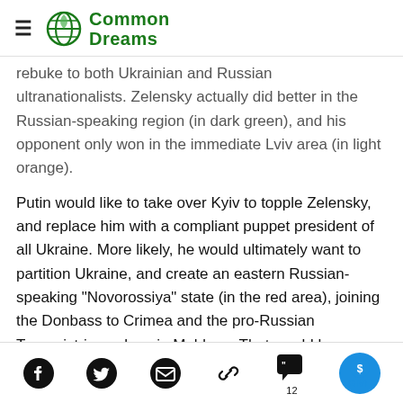Common Dreams
rebuke to both Ukrainian and Russian ultranationalists. Zelensky actually did better in the Russian-speaking region (in dark green), and his opponent only won in the immediate Lviv area (in light orange).
Putin would like to take over Kyiv to topple Zelensky, and replace him with a compliant puppet president of all Ukraine. More likely, he would ultimately want to partition Ukraine, and create an eastern Russian-speaking "Novorossiya" state (in the red area), joining the Donbass to Crimea and the pro-Russian Transnistria enclave in Moldova. That would leave a rump Ukraine in the western and central (yellow and orange) regions.
Social share icons: Facebook, Twitter, Email, Link, Comments (12), Give